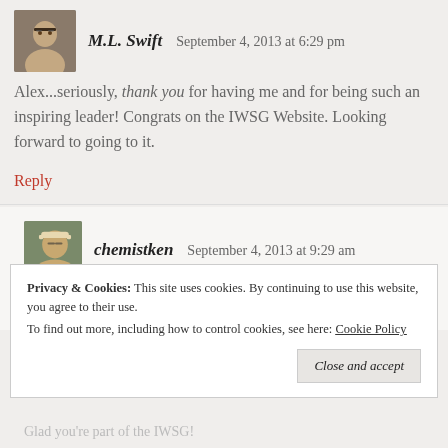[Figure (photo): Avatar photo of M.L. Swift - man with glasses]
M.L. Swift   September 4, 2013 at 6:29 pm
Alex...seriously, thank you for having me and for being such an inspiring leader! Congrats on the IWSG Website. Looking forward to going to it.
Reply
[Figure (photo): Avatar photo of chemistken - man with sunglasses and hat]
chemistken   September 4, 2013 at 9:29 am
Wow! That's a lot of good thoughts for a post about
Privacy & Cookies: This site uses cookies. By continuing to use this website, you agree to their use.
To find out more, including how to control cookies, see here: Cookie Policy
Close and accept
Glad you're part of the IWSG!